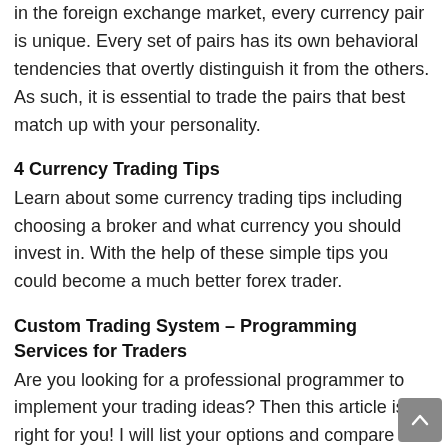in the foreign exchange market, every currency pair is unique. Every set of pairs has its own behavioral tendencies that overtly distinguish it from the others. As such, it is essential to trade the pairs that best match up with your personality.
4 Currency Trading Tips
Learn about some currency trading tips including choosing a broker and what currency you should invest in. With the help of these simple tips you could become a much better forex trader.
Custom Trading System – Programming Services for Traders
Are you looking for a professional programmer to implement your trading ideas? Then this article is right for you! I will list your options and compare them to each other.